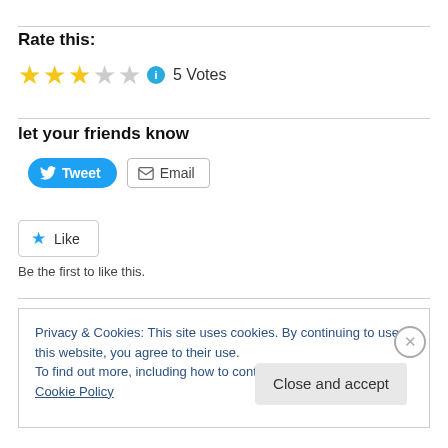Rate this:
[Figure (other): Star rating widget showing 3 filled gold stars and 2 empty stars, an info icon, and '5 Votes' text]
let your friends know
[Figure (other): Tweet button (blue, rounded) and Email button (white, bordered)]
[Figure (other): Like button with blue star icon]
Be the first to like this.
Privacy & Cookies: This site uses cookies. By continuing to use this website, you agree to their use.
To find out more, including how to control cookies, see here: Cookie Policy
Close and accept